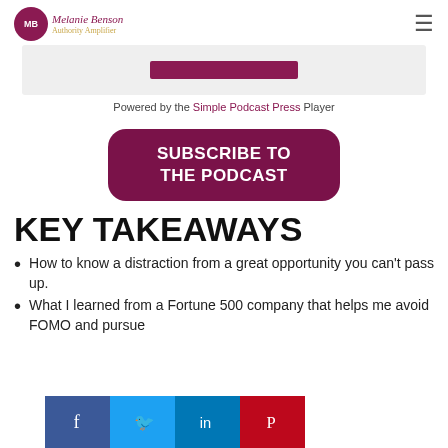Melanie Benson Authority Amplifier - logo and navigation
[Figure (screenshot): Podcast player widget with a dark maroon progress/play bar on a light grey background]
Powered by the Simple Podcast Press Player
SUBSCRIBE TO THE PODCAST
KEY TAKEAWAYS
How to know a distraction from a great opportunity you can't pass up.
What I learned from a Fortune 500 company that helps me avoid FOMO and pursue
[Figure (infographic): Social share bar with Facebook, Twitter, LinkedIn, and Pinterest buttons]